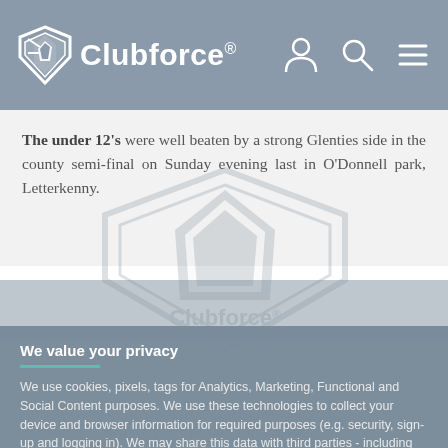Clubforce®
The under 12's were well beaten by a strong Glenties side in the county semi-final on Sunday evening last in O'Donnell park, Letterkenny.
[Figure (logo): Clubforce watermark logo in center of page]
We value your privacy
We use cookies, pixels, tags for Analytics, Marketing, Functional and Social Content purposes. We use these technologies to collect your device and browser information for required purposes (e.g. security, sign-up and logging in). We may share this data with third parties - including advertising partners like Google for Marketing purposes. By clicking "Accept All", you consent to the use of ALL the cookies. Please visit our for more information.
ACCEPT ALL   COOKIE SETTINGS